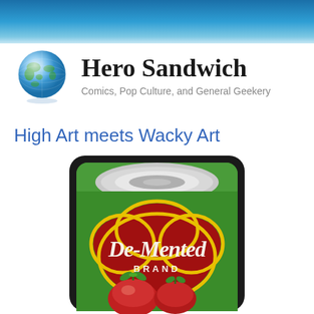Hero Sandwich
Comics, Pop Culture, and General Geekery
High Art meets Wacky Art
[Figure (illustration): A Wacky Packages style sticker showing a green food can labeled 'De-Mented BRAND' with a red tomato-shaped logo and tomato imagery at the bottom, with a dark border around the can shape.]